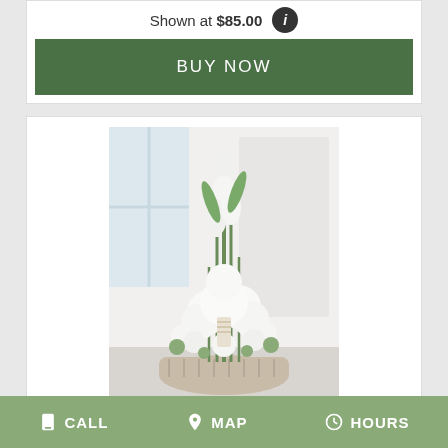Shown at $85.00
BUY NOW
[Figure (photo): White floral arrangement with gladiolus and roses in a basket, displayed in a product card]
ETERNAL AFFECTION B...   $79.95
BUY NOW
CALL   MAP   HOURS